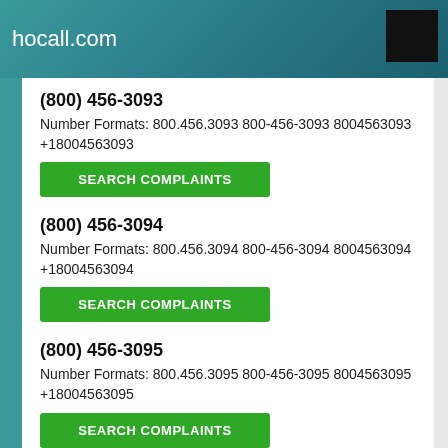hocall.com
(800) 456-3093
Number Formats: 800.456.3093 800-456-3093 8004563093 +18004563093
SEARCH COMPLAINTS
(800) 456-3094
Number Formats: 800.456.3094 800-456-3094 8004563094 +18004563094
SEARCH COMPLAINTS
(800) 456-3095
Number Formats: 800.456.3095 800-456-3095 8004563095 +18004563095
SEARCH COMPLAINTS